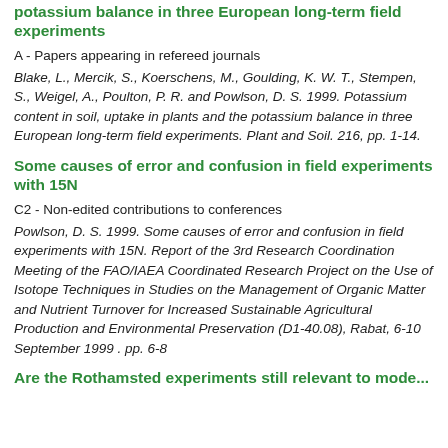potassium balance in three European long-term field experiments
A - Papers appearing in refereed journals
Blake, L., Mercik, S., Koerschens, M., Goulding, K. W. T., Stempen, S., Weigel, A., Poulton, P. R. and Powlson, D. S. 1999. Potassium content in soil, uptake in plants and the potassium balance in three European long-term field experiments. Plant and Soil. 216, pp. 1-14.
Some causes of error and confusion in field experiments with 15N
C2 - Non-edited contributions to conferences
Powlson, D. S. 1999. Some causes of error and confusion in field experiments with 15N. Report of the 3rd Research Coordination Meeting of the FAO/IAEA Coordinated Research Project on the Use of Isotope Techniques in Studies on the Management of Organic Matter and Nutrient Turnover for Increased Sustainable Agricultural Production and Environmental Preservation (D1-40.08), Rabat, 6-10 September 1999 . pp. 6-8
Are the Rothamsted experiments still relevant to mode...